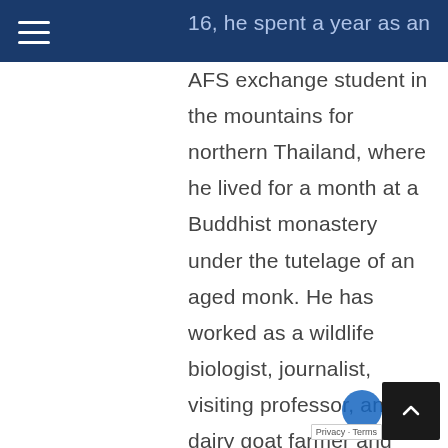16, he spent a year as an
AFS exchange student in the mountains for northern Thailand, where he lived for a month at a Buddhist monastery under the tutelage of an aged monk. He has worked as a wildlife biologist, journalist, visiting professor, and dairy goat farmer and now resides near the confluence of the Marys and Willamette rivers in western